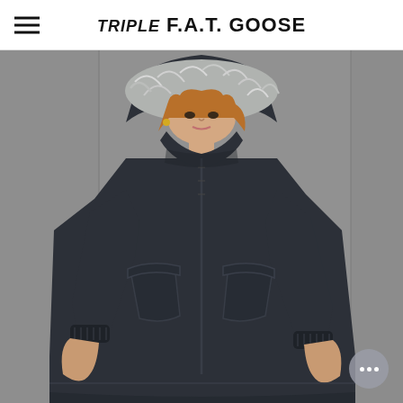Triple F.A.T. Goose
[Figure (photo): A woman wearing a long dark navy/charcoal puffer coat with a fur-trimmed hood. The coat features a front zip closure, two large front pockets with flap details, and ribbed cuffs. The model is photographed against a grey background.]